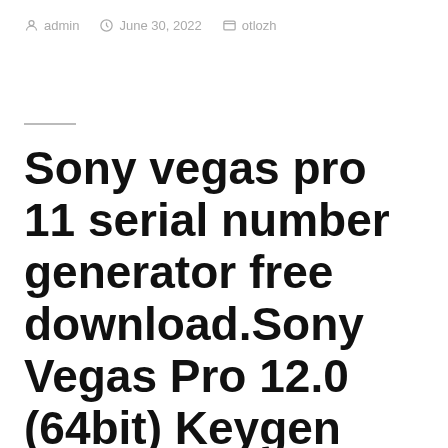admin   June 30, 2022   otlozh
Sony vegas pro 11 serial number generator free download.Sony Vegas Pro 12.0 (64bit) Keygen Only Serial Key Keygen